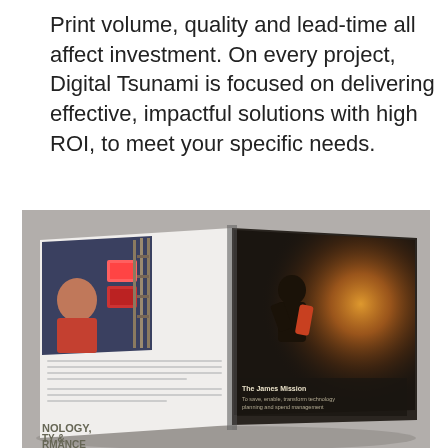Print volume, quality and lead-time all affect investment. On every project, Digital Tsunami is focused on delivering effective, impactful solutions with high ROI, to meet your specific needs.
[Figure (photo): An open magazine/brochure shown at an angle on a grey surface. The left page shows a person working at computer screens with shelving/warehouse imagery. The right page shows an industrial/factory worker scene with dramatic lighting. Text visible on the brochure includes partial words 'NOLOGY, TY & RMANCE' on bottom left and 'The James Mission' on the right page.]